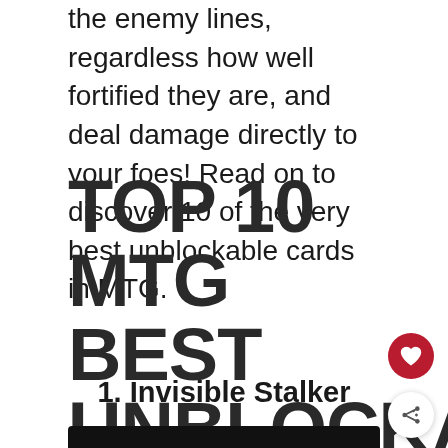the enemy lines, regardless how well fortified they are, and deal damage directly to your foes! Read on to discover 10 of the very best unblockable cards in MTG.
TOP 10 MTG BEST UNBLOCKABLE CARDS
1. Invisible Stalker